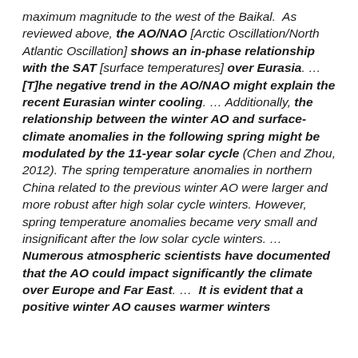maximum magnitude to the west of the Baikal. As reviewed above, the AO/NAO [Arctic Oscillation/North Atlantic Oscillation] shows an in-phase relationship with the SAT [surface temperatures] over Eurasia. … [T]he negative trend in the AO/NAO might explain the recent Eurasian winter cooling. … Additionally, the relationship between the winter AO and surface-climate anomalies in the following spring might be modulated by the 11-year solar cycle (Chen and Zhou, 2012). The spring temperature anomalies in northern China related to the previous winter AO were larger and more robust after high solar cycle winters. However, spring temperature anomalies became very small and insignificant after the low solar cycle winters. … Numerous atmospheric scientists have documented that the AO could impact significantly the climate over Europe and Far East. … It is evident that a positive winter AO causes warmer winters